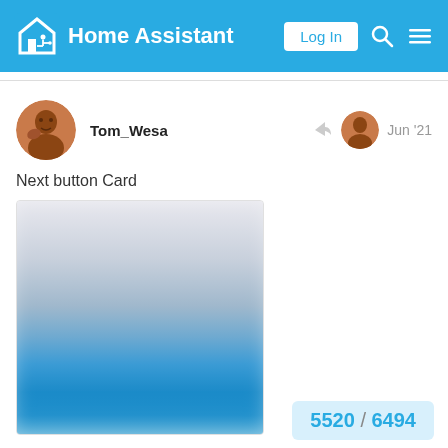Home Assistant — Log In
Tom_Wesa   Jun '21
Next button Card
[Figure (screenshot): A blurred screenshot of a Home Assistant button card UI showing a gradient from light gray/white at top to vivid blue at bottom.]
5520 / 6494